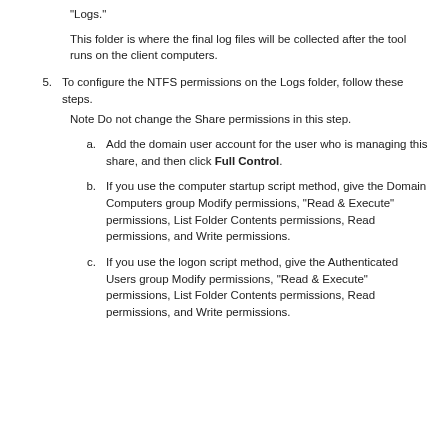"Logs."
This folder is where the final log files will be collected after the tool runs on the client computers.
5. To configure the NTFS permissions on the Logs folder, follow these steps.
Note Do not change the Share permissions in this step.
a. Add the domain user account for the user who is managing this share, and then click Full Control.
b. If you use the computer startup script method, give the Domain Computers group Modify permissions, "Read & Execute" permissions, List Folder Contents permissions, Read permissions, and Write permissions.
c. If you use the logon script method, give the Authenticated Users group Modify permissions, "Read & Execute" permissions, List Folder Contents permissions, Read permissions, and Write permissions.